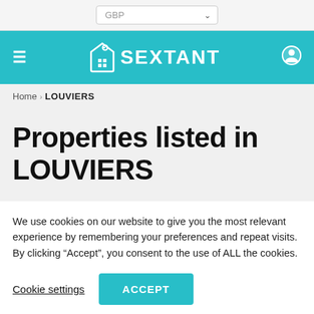GBP
[Figure (logo): Sextant real estate logo with house/tag icon and text SEXTANT on teal navigation bar]
Home > LOUVIERS
Properties listed in LOUVIERS
We use cookies on our website to give you the most relevant experience by remembering your preferences and repeat visits. By clicking “Accept”, you consent to the use of ALL the cookies.
Cookie settings  ACCEPT